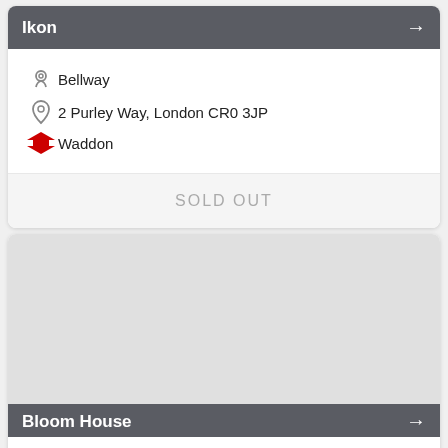Ikon
Bellway
2 Purley Way, London CR0 3JP
Waddon
SOLD OUT
[Figure (photo): Gray placeholder image area for Bloom House listing]
Bloom House
L&Q
Fell Road, London CR9 3JS